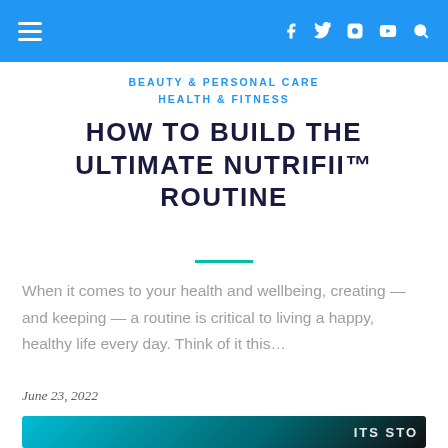≡  f  ✦  ◎  ▶  🔍
BEAUTY & PERSONAL CARE
HEALTH & FITNESS
HOW TO BUILD THE ULTIMATE NUTRIFII™ ROUTINE
When it comes to your health and wellbeing, creating — and keeping — a routine is critical to living a happy, healthy life every day. Think of it this…
June 23, 2022
[Figure (photo): Partial thumbnail image with teal/dark background and partial bold white text visible]